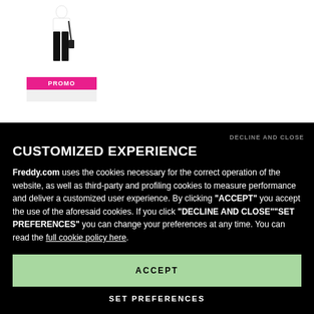[Figure (illustration): Product promotional image showing a person in black pants with a pink PROMO banner at the bottom]
DECLINE AND CLOSE
CUSTOMIZED EXPERIENCE
Freddy.com uses the cookies necessary for the correct operation of the website, as well as third-party and profiling cookies to measure performance and deliver a customized user experience. By clicking "ACCEPT" you accept the use of the aforesaid cookies. If you click "DECLINE AND CLOSE""SET PREFERENCES" you can change your preferences at any time. You can read the full cookie policy here.
ACCEPT
SET PREFERENCES